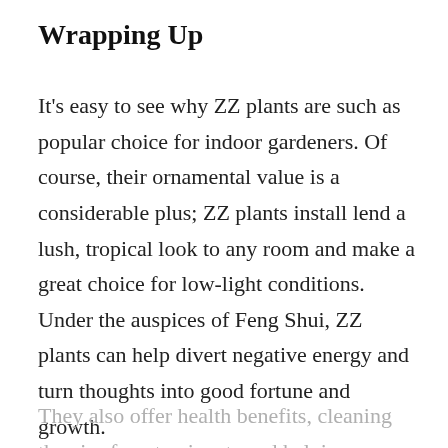Wrapping Up
It's easy to see why ZZ plants are such as popular choice for indoor gardeners. Of course, their ornamental value is a considerable plus; ZZ plants install lend a lush, tropical look to any room and make a great choice for low-light conditions. Under the auspices of Feng Shui, ZZ plants can help divert negative energy and turn thoughts into good fortune and growth.
They also offer health benefits, cleaning the air of contaminants and helping